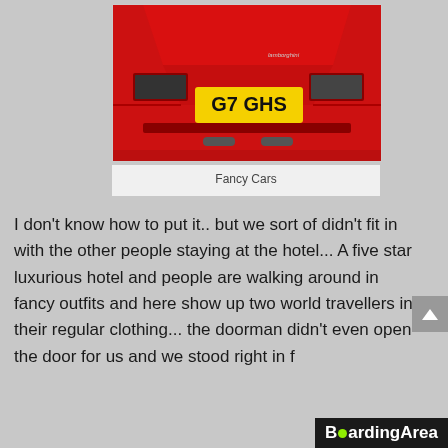[Figure (photo): Close-up rear view of a red Lamborghini sports car with a yellow UK license plate reading 'G7 GHS'. The Lamborghini logo is visible on the car's body.]
Fancy Cars
I don't know how to put it.. but we sort of didn't fit in with the other people staying at the hotel... A five star luxurious hotel and people are walking around in fancy outfits and here show up two world travellers in their regular clothing... the doorman didn't even open the door for us and we stood right in f